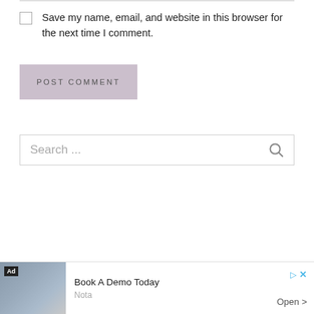Save my name, email, and website in this browser for the next time I comment.
POST COMMENT
Search ...
[Figure (screenshot): Ad banner at the bottom: image of legal scales and documents, Book A Demo Today, Nota, Open >]